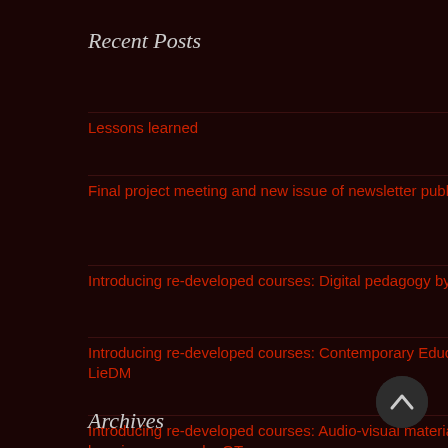Recent Posts
Lessons learned
Final project meeting and new issue of newsletter published
Introducing re-developed courses: Digital pedagogy by BME
Introducing re-developed courses: Contemporary Education by LieDM
Introducing re-developed courses: Audio-visual materials in the learning process by OT
Archives